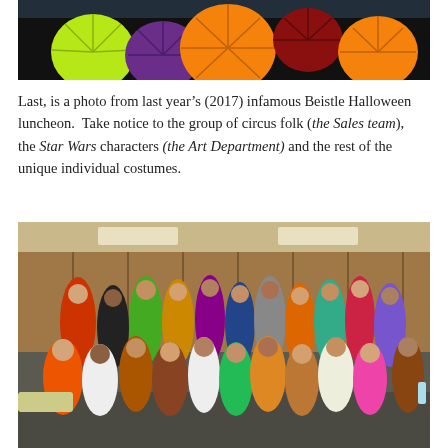[Figure (photo): Close-up photo of colorful Halloween paper fan decorations (lime green, orange, purple) against a dark background.]
Last, is a photo from last year’s (2017) infamous Beistle Halloween luncheon.  Take notice to the group of circus folk (the Sales team), the Star Wars characters (the Art Department) and the rest of the unique individual costumes.
[Figure (photo): Group photo of Beistle employees in Halloween costumes at the 2017 Halloween luncheon, including circus folk (Sales team), Star Wars characters (Art Department), and other unique individual costumes, in a conference/luncheon room.]